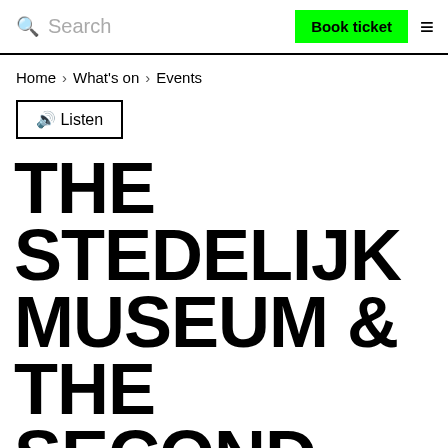Search | Book ticket | ≡
Home › What's on › Events
🔊 Listen
THE STEDELIJK MUSEUM & THE SECOND WORLD WAR WITH CLAARTJE WESSELINK